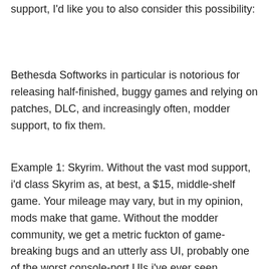support, I'd like you to also consider this possibility:
Bethesda Softworks in particular is notorious for releasing half-finished, buggy games and relying on patches, DLC, and increasingly often, modder support, to fix them.
Example 1: Skyrim. Without the vast mod support, i'd class Skyrim as, at best, a $15, middle-shelf game. Your mileage may vary, but in my opinion, mods make that game. Without the modder community, we get a metric fuckton of game-breaking bugs and an utterly ass UI, probably one of the worst console-port UIs i've ever seen.
Example 2: Fallout 3 and FNV. Fallout 3 was